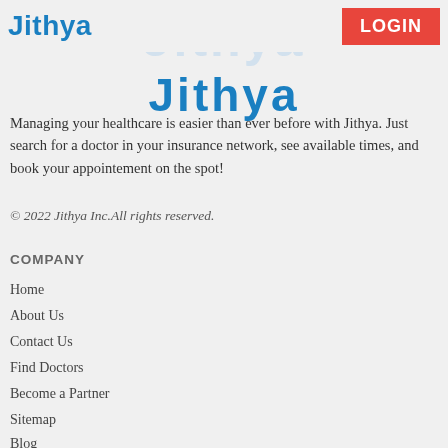Jithya | LOGIN
[Figure (logo): Jithya large blue logo watermark and main logo text]
Managing your healthcare is easier than ever before with Jithya. Just search for a doctor in your insurance network, see available times, and book your appointement on the spot!
© 2022 Jithya Inc.All rights reserved.
COMPANY
Home
About Us
Contact Us
Find Doctors
Become a Partner
Sitemap
Blog